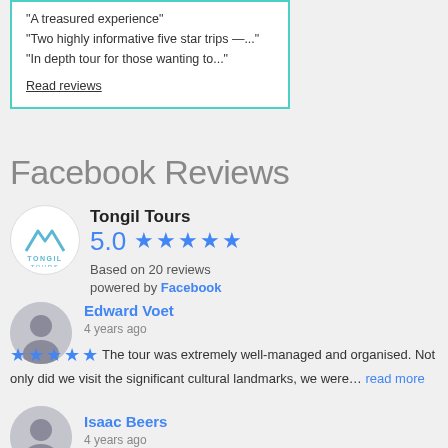“A treasured experience”
“Two highly informative five star trips —...”
“In depth tour for those wanting to...”
Read reviews
Facebook Reviews
Tongil Tours
5.0 ★★★★★
Based on 20 reviews
powered by Facebook
Edward Voet
4 years ago
★★★★★ The tour was extremely well-managed and organised. Not only did we visit the significant cultural landmarks, we were... read more
Isaac Beers